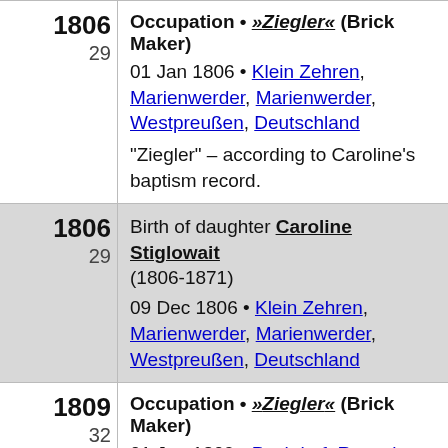1806 / 29 — Occupation • »Ziegler« (Brick Maker) — 01 Jan 1806 • Klein Zehren, Marienwerder, Marienwerder, Westpreußen, Deutschland — "Ziegler" – according to Caroline's baptism record.
1806 / 29 — Birth of daughter Caroline Stiglowait (1806-1871) — 09 Dec 1806 • Klein Zehren, Marienwerder, Marienwerder, Westpreußen, Deutschland
1809 / 32 — Occupation • »Ziegler« (Brick Maker) — 01 Jan 1809 • Pachthof, Rosenberg, Marienwerder, Westpreußen